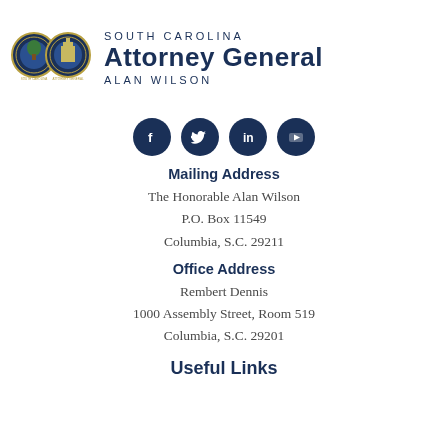[Figure (logo): South Carolina Attorney General official seal/logo with two circular emblems on the left and text 'SOUTH CAROLINA Attorney General ALAN WILSON' on the right]
[Figure (infographic): Row of four dark navy social media icons: Facebook, Twitter, LinkedIn, YouTube]
Mailing Address
The Honorable Alan Wilson
P.O. Box 11549
Columbia, S.C. 29211
Office Address
Rembert Dennis
1000 Assembly Street, Room 519
Columbia, S.C. 29201
Useful Links